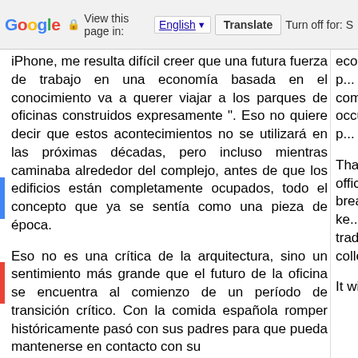Google | View this page in: English [▼] | Translate | Turn off for: S
iPhone, me resulta difícil creer que una futura fuerza de trabajo en una economía basada en el conocimiento va a querer viajar a los parques de oficinas construidos expresamente ". Eso no quiere decir que estos acontecimientos no se utilizará en las próximas décadas, pero incluso mientras caminaba alrededor del complejo, antes de que los edificios están completamente ocupados, todo el concepto que ya se sentía como una pieza de época.

Eso no es una crítica de la arquitectura, sino un sentimiento más grande que el futuro de la oficina se encuentra al comienzo de un período de transición crítico. Con la comida española romper históricamente pasó con sus padres para que pueda mantenerse en contacto con su
economy wi... built "office p... developments... to come, but... complex, be... occupied, the... like a period p...

That's not a... but a larger... office is at... transition per... break historic... so you can ke... find it easy t... this tradition... used to ke... colleagues.

It will...